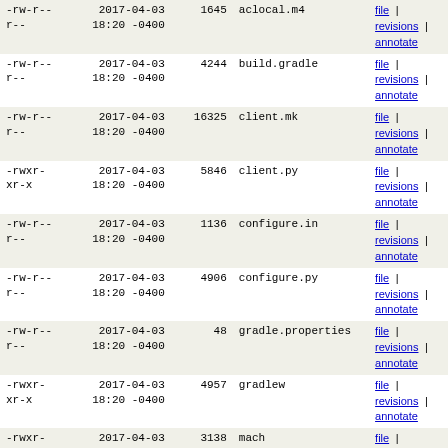| permissions | date | size | name | links |
| --- | --- | --- | --- | --- |
| -rw-r--r-- | 2017-04-03 18:20 -0400 | 1645 | aclocal.m4 | file | revisions | annotate |
| -rw-r--r-- | 2017-04-03 18:20 -0400 | 4244 | build.gradle | file | revisions | annotate |
| -rw-r--r-- | 2017-04-03 18:20 -0400 | 16325 | client.mk | file | revisions | annotate |
| -rwxr-xr-x | 2017-04-03 18:20 -0400 | 5846 | client.py | file | revisions | annotate |
| -rw-r--r-- | 2017-04-03 18:20 -0400 | 1136 | configure.in | file | revisions | annotate |
| -rw-r--r-- | 2017-04-03 18:20 -0400 | 4906 | configure.py | file | revisions | annotate |
| -rw-r--r-- | 2017-04-03 18:20 -0400 | 48 | gradle.properties | file | revisions | annotate |
| -rwxr-xr-x | 2017-04-03 18:20 -0400 | 4957 | gradlew | file | revisions | annotate |
| -rwxr-xr-x | 2017-04-03 18:20 -0400 | 3138 | mach | file | revisions | annotate |
| -rw-r--r-- | 2017-04-03 18:20 -0400 | 3224 | moz.build | file | revisions | annotate |
| -rw-r--r-- | 2017-04-03 18:20 -0400 | 12105 | moz.configure | file | revisions | annotate |
| -rw-r--r-- | 2017-04-03 18:20 -0400 | 2171 | mozilla-config.h.in | file | revisions | annotate |
| -rw-r--r-- | 2017-04-03 18:20 -0400 | 193015 | old-configure.in | file | revisions | annotate |
| -rw-r--r-- | 2017-04-03 18:20 -0400 | 2606 | settings.gradle | file | revisions | annotate |